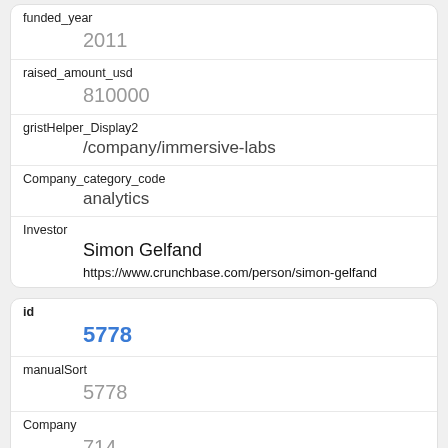| Field | Value |
| --- | --- |
| funded_year | 2011 |
| raised_amount_usd | 810000 |
| gristHelper_Display2 | /company/immersive-labs |
| Company_category_code | analytics |
| Investor | Simon Gelfand
https://www.crunchbase.com/person/simon-gelfand |
| Field | Value |
| --- | --- |
| id | 5778 |
| manualSort | 5778 |
| Company | 714 |
| investor_permalink | /person/teddy-schiff |